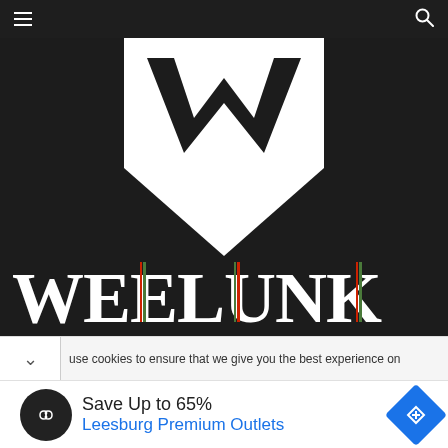Navigation bar with hamburger menu and search icon
[Figure (logo): Weelunk logo: large white shield/pennant shape with a bold black W letter on dark background, with WEELUNK text in large white serif letters below]
use cookies to ensure that we give you the best experience on
Save Up to 65%
Leesburg Premium Outlets